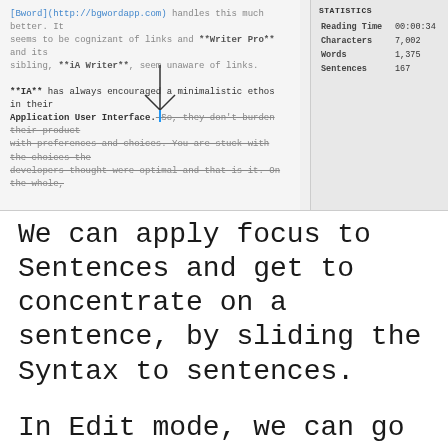[Figure (screenshot): Screenshot of a text editor showing markdown text with strikethrough formatting, an arrow annotation pointing to a cursor, and a statistics panel on the right showing Reading Time 00:00:34, Characters 7,002, Words 1,375, Sentences 167]
We can apply focus to Sentences and get to concentrate on a sentence, by sliding the Syntax to sentences.
In Edit mode, we can go through our document sentence by sentence, and the focus moves along. The cursor changes to a reddish variant and it is a